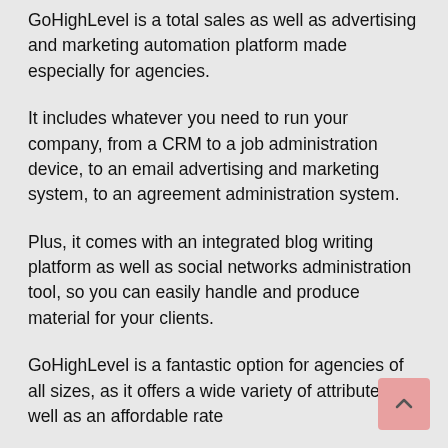GoHighLevel is a total sales as well as advertising and marketing automation platform made especially for agencies.
It includes whatever you need to run your company, from a CRM to a job administration device, to an email advertising and marketing system, to an agreement administration system.
Plus, it comes with an integrated blog writing platform as well as social networks administration tool, so you can easily handle and produce material for your clients.
GoHighLevel is a fantastic option for agencies of all sizes, as it offers a wide variety of attributes as well as an affordable rate